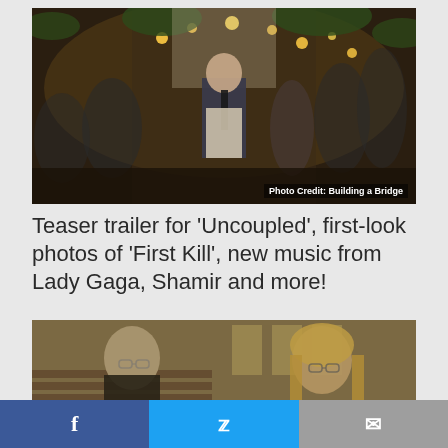[Figure (photo): Scene from wedding/party event, person in dark suit with tie standing in center, decorative lights and greenery in background. Photo Credit: Building a Bridge]
Teaser trailer for 'Uncoupled', first-look photos of 'First Kill', new music from Lady Gaga, Shamir and more!
[Figure (photo): Two people in a church setting, a bald man with glasses in dark clothing on the left, a woman with blonde hair and glasses on the right]
Facebook share | Twitter share | Email share